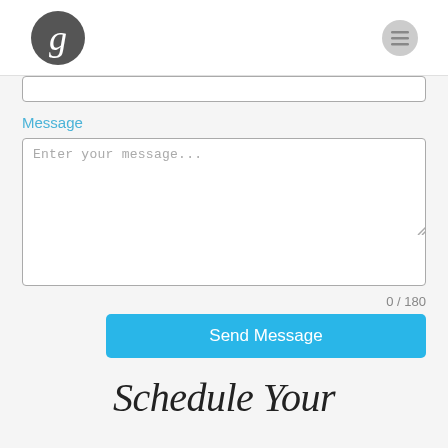g [logo] [menu icon]
Message
Enter your message...
0 / 180
Send Message
Schedule Your